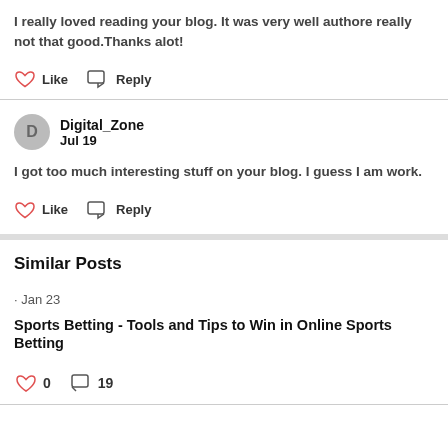I really loved reading your blog. It was very well authore really not that good.Thanks alot!
Like   Reply
Digital_Zone
Jul 19
I got too much interesting stuff on your blog. I guess I am work.
Like   Reply
Similar Posts
· Jan 23
Sports Betting - Tools and Tips to Win in Online Sports Betting
0   19